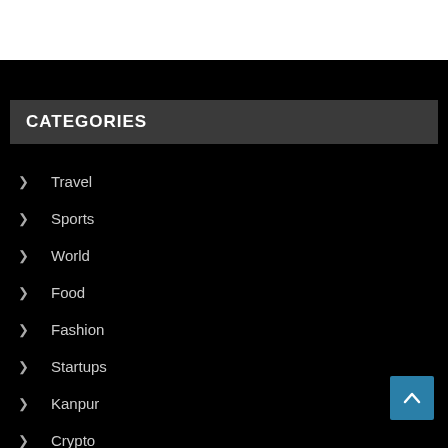CATEGORIES
Travel
Sports
World
Food
Fashion
Startups
Kanpur
Crypto
Entertainment